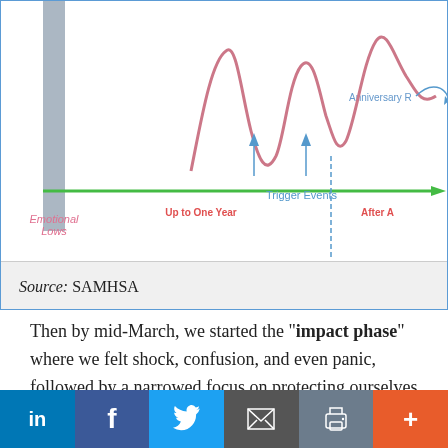[Figure (infographic): Partial view of a SAMHSA disaster behavioral health response curve chart showing Emotional Lows, Trigger Events, Anniversary Reactions, green horizontal timeline arrow labeled 'Up to One Year' and 'After A...', and a pink/red wavy line representing emotional inventory over time.]
Source: SAMHSA
Then by mid-March, we started the "impact phase" where we felt shock, confusion, and even panic, followed by a narrowed focus on protecting ourselves and our family. While intense, the phase was relatively short-lived. Shortly after the abrupt shutdown of many parts of the United States, we started to notice what people had labeled "the heroic phase," when we celebrated our essential workers and made masks for one
in  f  [twitter]  [email]  [print]  +